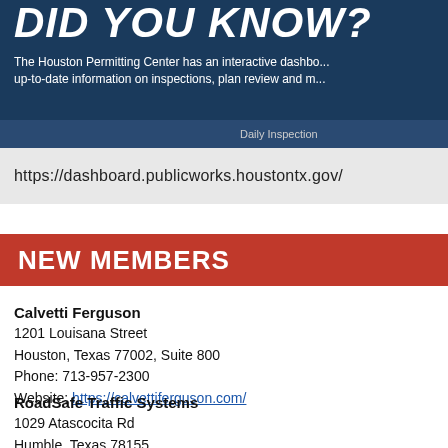[Figure (screenshot): Blue banner with 'DID YOU KNOW?' heading and screenshot of interactive dashboard from Houston Permitting Center]
The Houston Permitting Center has an interactive dashboard up-to-date information on inspections, plan review and more.
https://dashboard.publicworks.houstontx.gov/
NEW MEMBERS
Calvetti Ferguson
1201 Louisana Street
Houston, Texas 77002, Suite 800
Phone: 713-957-2300
Website: https://calvettiferguson.com/
RoadSafe Traffic Systems
1029 Atascocita Rd
Humble, Texas 78155